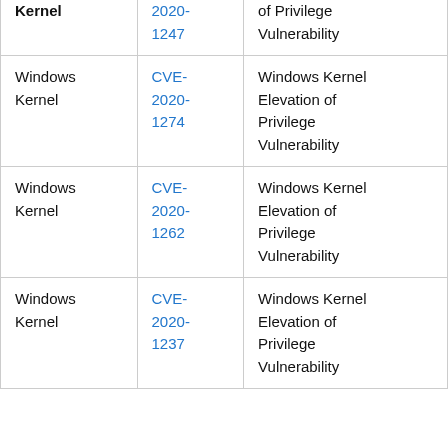| Component | CVE | Description |
| --- | --- | --- |
| Windows Kernel | CVE-2020-1247 | Elevation of Privilege Vulnerability |
| Windows Kernel | CVE-2020-1274 | Windows Kernel Elevation of Privilege Vulnerability |
| Windows Kernel | CVE-2020-1262 | Windows Kernel Elevation of Privilege Vulnerability |
| Windows Kernel | CVE-2020-1237 | Windows Kernel Elevation of Privilege Vulnerability |